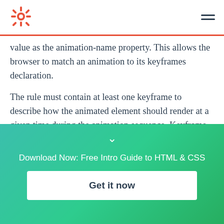HubSpot logo and navigation menu
value as the animation-name property. This allows the browser to match an animation to its keyframes declaration.
The rule must contain at least one keyframe to describe how the animated element should render at a given time during the animation sequence. Keyframe selectors can use percentages to specify when they take place along the animation cycle. If
[Figure (other): Teal-to-green gradient overlay with chevron down arrow, download prompt text, and CTA button]
Download Now: Free Intro Guide to HTML & CSS
Get it now